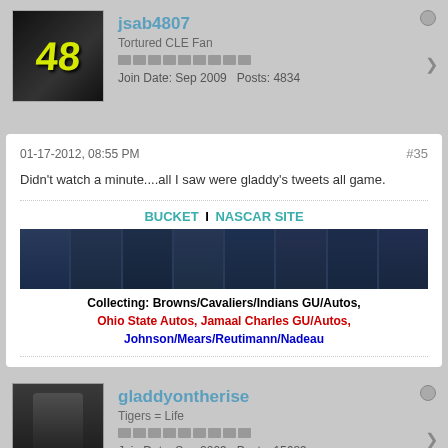jsab4807
Tortured CLE Fan
Join Date: Sep 2009   Posts: 4834
01-17-2012, 08:55 PM
#35
Didn't watch a minute....all I saw were gladdy's tweets all game.
BUCKET | NASCAR SITE
[Figure (photo): Row of NASCAR trading cards showing drivers in racing suits]
Collecting: Browns/Cavaliers/Indians GU/Autos, Ohio State Autos, Jamaal Charles GU/Autos, Johnson/Mears/Reutimann/Nadeau
gladdyontherise
Tigers = Life
Join Date: Sep 2009   Posts: 15689